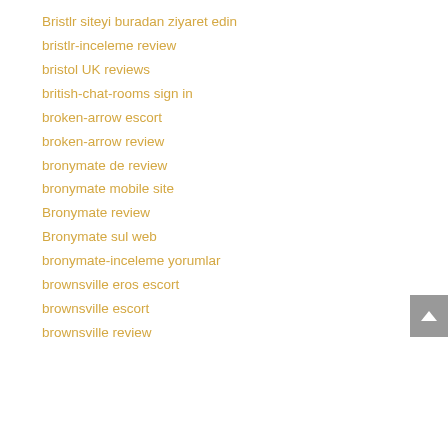Bristlr siteyi buradan ziyaret edin
bristlr-inceleme review
bristol UK reviews
british-chat-rooms sign in
broken-arrow escort
broken-arrow review
bronymate de review
bronymate mobile site
Bronymate review
Bronymate sul web
bronymate-inceleme yorumlar
brownsville eros escort
brownsville escort
brownsville review